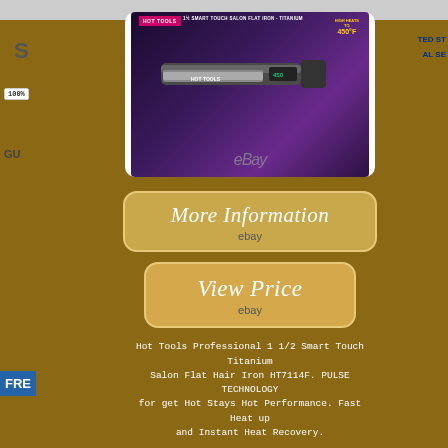[Figure (photo): Product listing page showing Hot Tools Professional 1 1/2 Smart Touch Titanium Salon Flat Iron HT7114F in its packaging box, displayed on eBay. The box shows the flat iron with purple/dark background, 'HOT TOOLS' branding and 'HIGH HEATS TO 450°F' badge. The eBay watermark is visible below the product image.]
[Figure (other): Button reading 'More Information' with eBay logo below on a tan/gold rounded rectangle background]
[Figure (other): Button reading 'View Price' with eBay logo below on a tan/gold rounded rectangle background]
Hot Tools Professional 1 1/2 Smart Touch Titanium Salon Flat Hair Iron HT7114F. PULSE TECHNOLOGY for get Hot Stays Hot Performance. Fast Heat up and Instant Heat Recovery.